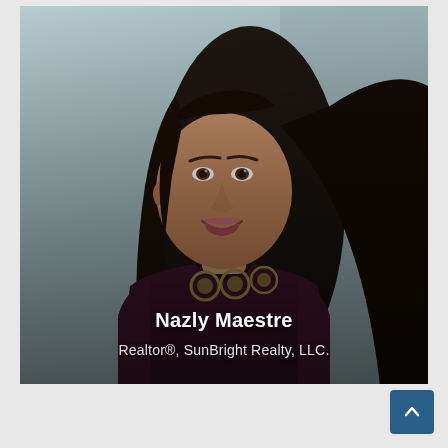[Figure (photo): Professional headshot of Nazly Maestre, a woman with long dark hair, smiling, wearing a dark maroon sleeveless top with gold circular neckline details, posed against a light blue-grey background. Overlaid text at the bottom shows her name and title.]
Nazly Maestre
Realtor®, SunBright Realty, LLC.